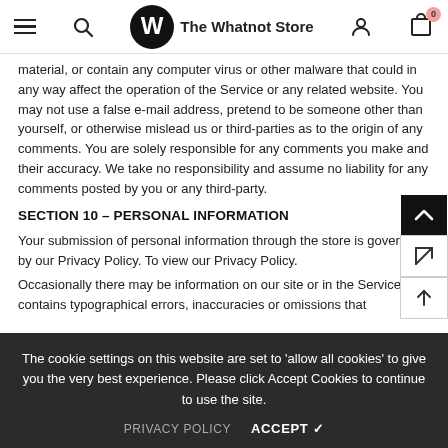The Whatnot Store
material, or contain any computer virus or other malware that could in any way affect the operation of the Service or any related website. You may not use a false e-mail address, pretend to be someone other than yourself, or otherwise mislead us or third-parties as to the origin of any comments. You are solely responsible for any comments you make and their accuracy. We take no responsibility and assume no liability for any comments posted by you or any third-party.
SECTION 10 – PERSONAL INFORMATION
Your submission of personal information through the store is governed by our Privacy Policy. To view our Privacy Policy.
Occasionally there may be information on our site or in the Service that contains typographical errors, inaccuracies or omissions that
The cookie settings on this website are set to 'allow all cookies' to give you the very best experience. Please click Accept Cookies to continue to use the site.